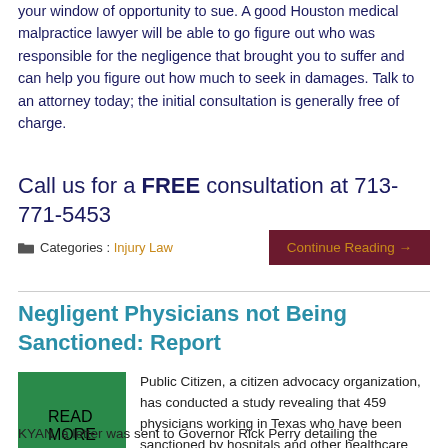your window of opportunity to sue. A good Houston medical malpractice lawyer will be able to go figure out who was responsible for the negligence that brought you to suffer and can help you figure out how much to seek in damages. Talk to an attorney today; the initial consultation is generally free of charge.
Call us for a FREE consultation at 713-771-5453
Categories : Injury Law
Continue Reading →
Negligent Physicians not Being Sanctioned: Report
[Figure (illustration): Green square image with bold black text reading READ MORE, with a gray circular scroll-to-top button at the bottom left]
Public Citizen, a citizen advocacy organization, has conducted a study revealing that 459 physicians working in Texas who have been sanctioned by hospitals and other healthcare providers have not been disciplined by the state medical board. According to a report in KYAN, a letter was sent to Governor Rick Perry detailing the